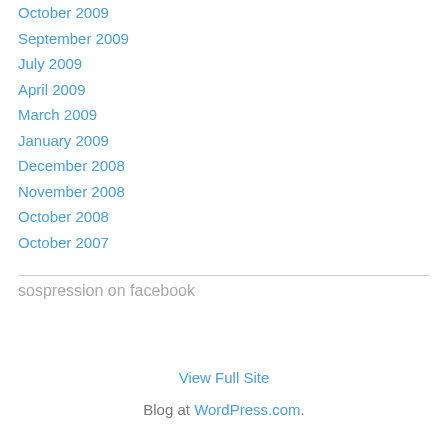October 2009
September 2009
July 2009
April 2009
March 2009
January 2009
December 2008
November 2008
October 2008
October 2007
sospression on facebook
View Full Site
Blog at WordPress.com.